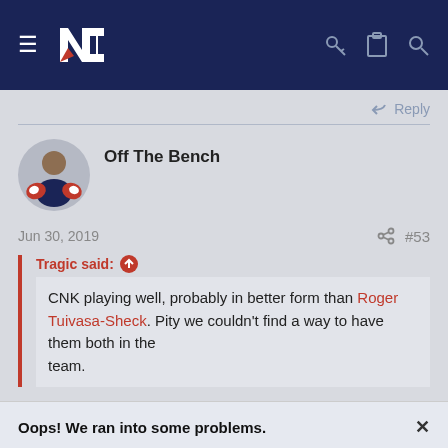Navigation bar with hamburger menu, NZ Warriors logo, key icon, clipboard icon, search icon
Reply
Off The Bench
Jun 30, 2019   #53
Tragic said: ↑
CNK playing well, probably in better form than Roger Tuivasa-Sheck. Pity we couldn't find a way to have them both in the team.
Oops! We ran into some problems.
Cookies are required to use this site. You must accept them to continue using the site.